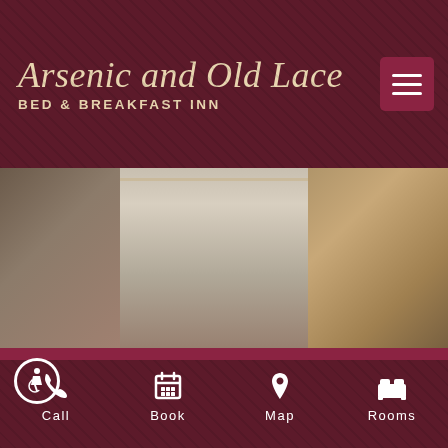[Figure (screenshot): Header bar with dark maroon background and subtle pattern. Contains 'Arsenic and Old Lace' in italic script font and 'BED & BREAKFAST INN' in bold spaced letters, both in cream/gold color. A hamburger menu button (three horizontal lines) is in the top-right corner with a slightly lighter maroon background.]
[Figure (photo): Horizontal photo strip showing a hotel room interior with brass bed frame, white/cream bedding, side table, curtains on the left, and a brown leather armchair on the right with a magazine/book.]
View Our Rooms
[Figure (photo): Partial photo of two champagne flutes filled with sparkling wine/champagne, appearing to rest near a bathtub or white surface, with warm beige tones.]
Call   Book   Map   Rooms